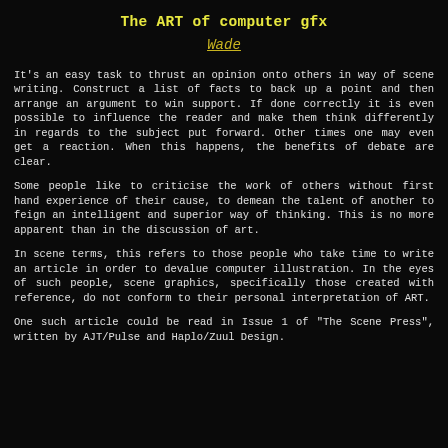The ART of computer gfx
Wade
It's an easy task to thrust an opinion onto others in way of scene writing. Construct a list of facts to back up a point and then arrange an argument to win support. If done correctly it is even possible to influence the reader and make them think differently in regards to the subject put forward. Other times one may even get a reaction. When this happens, the benefits of debate are clear.
Some people like to criticise the work of others without first hand experience of their cause, to demean the talent of another to feign an intelligent and superior way of thinking. This is no more apparent than in the discussion of art.
In scene terms, this refers to those people who take time to write an article in order to devalue computer illustration. In the eyes of such people, scene graphics, specifically those created with reference, do not conform to their personal interpretation of ART.
One such article could be read in Issue 1 of "The Scene Press", written by AJT/Pulse and Haplo/Zuul Design.